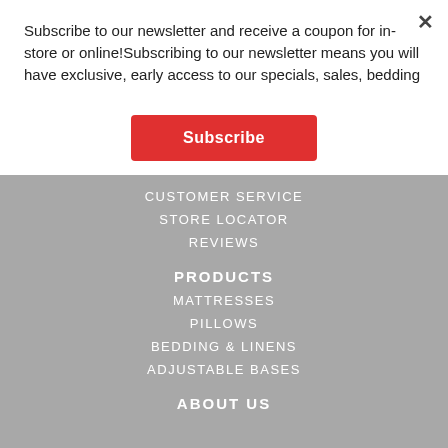Subscribe to our newsletter and receive a coupon for in-store or online!Subscribing to our newsletter means you will have exclusive, early access to our specials, sales, bedding
Subscribe
CUSTOMER SERVICE
STORE LOCATOR
REVIEWS
PRODUCTS
MATTRESSES
PILLOWS
BEDDING & LINENS
ADJUSTABLE BASES
ABOUT US